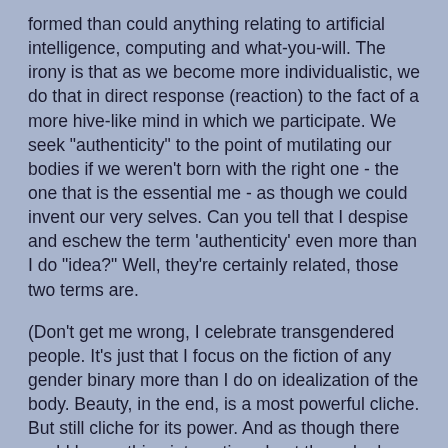formed than could anything relating to artificial intelligence, computing and what-you-will. The irony is that as we become more individualistic, we do that in direct response (reaction) to the fact of a more hive-like mind in which we participate. We seek "authenticity" to the point of mutilating our bodies if we weren't born with the right one - the one that is the essential me - as though we could invent our very selves. Can you tell that I despise and eschew the term 'authenticity' even more than I do "idea?" Well, they're certainly related, those two terms are.
(Don't get me wrong, I celebrate transgendered people. It's just that I focus on the fiction of any gender binary more than I do on idealization of the body. Beauty, in the end, is a most powerful cliche. But still cliche for its power. And as though there could be anything interesting about the naked body. We're all the same without clothes on, more or less.)
Memes would enable bottom-up development of mind, I suppose, which isn't quite the same as evolution. Or maybe it could be if one understands these matters in relation to entropy, the way that information theory goes, or as life goes